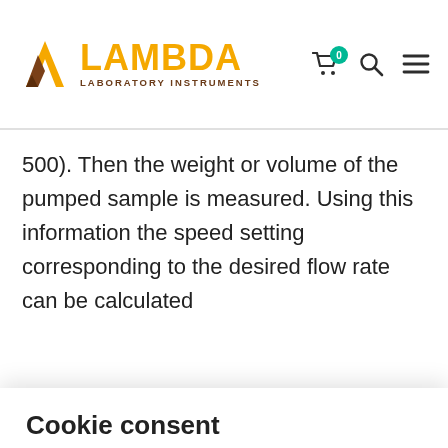LAMBDA LABORATORY INSTRUMENTS
500). Then the weight or volume of the pumped sample is measured. Using this information the speed setting corresponding to the desired flow rate can be calculated easily (calculation theory).
Cookie consent
We use cookies to personalize ad content and to analyze traffic. You can "Confirm settings" or customize the settings by clicking on "Manage cookies". The granted consent can be revoked by clicking on the "Cookies" link in the footer of the page. .